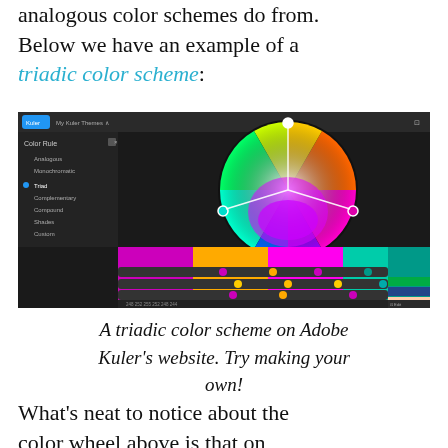analogous color schemes do from. Below we have an example of a triadic color scheme:
[Figure (screenshot): Screenshot of Adobe Kuler's website showing a triadic color scheme on a color wheel. The wheel displays a spectrum of colors with three equidistant points connected by white lines. Below the wheel are swatches of magenta/purple, orange/yellow, magenta, and teal/green. Sliders below show color adjustments.]
A triadic color scheme on Adobe Kuler’s website. Try making your own!
What’s neat to notice about the color wheel above is that on